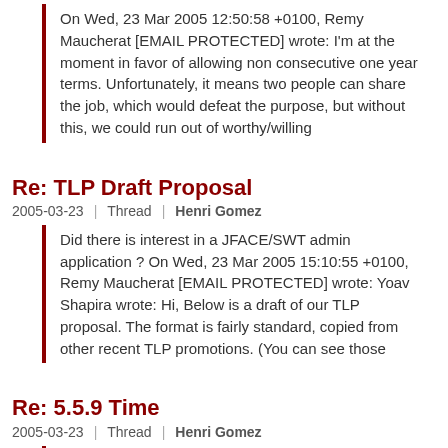On Wed, 23 Mar 2005 12:50:58 +0100, Remy Maucherat [EMAIL PROTECTED] wrote: I'm at the moment in favor of allowing non consecutive one year terms. Unfortunately, it means two people can share the job, which would defeat the purpose, but without this, we could run out of worthy/willing
Re: TLP Draft Proposal
2005-03-23 | Thread | Henri Gomez
Did there is interest in a JFACE/SWT admin application ? On Wed, 23 Mar 2005 15:10:55 +0100, Remy Maucherat [EMAIL PROTECTED] wrote: Yoav Shapira wrote: Hi, Below is a draft of our TLP proposal. The format is fairly standard, copied from other recent TLP promotions. (You can see those
Re: 5.5.9 Time
2005-03-23 | Thread | Henri Gomez
Well I'd like to see the bugzilla #34034 (Jasper and external entities) fixed. Bill and Jan take a look at my previous patch, and corrected it a little. It's attached on bz : http://issues.apache.org/bugzilla/show_bug.cgi?id=34034 Regards On Wed, 23 Mar 2005 09:00:41 -0500, Yoav Shapira